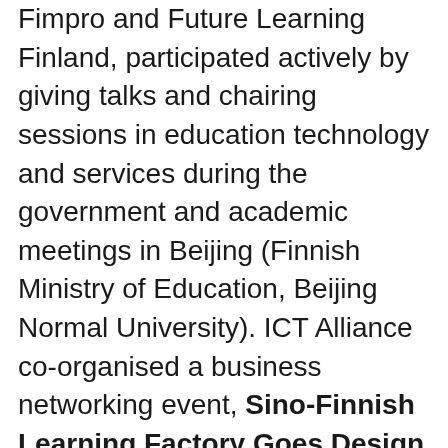Fimpro and Future Learning Finland, participated actively by giving talks and chairing sessions in education technology and services during the government and academic meetings in Beijing (Finnish Ministry of Education, Beijing Normal University). ICT Alliance co-organised a business networking event, Sino-Finnish Learning Factory Goes Design Factory: Co-creating Future Digital Learning Solutions and Business Opportunities, at the Sino-Finnish Centre in Shanghai to promote EDUTECH business ecosystem cooperation. Education has been on the ICT Alliance agenda